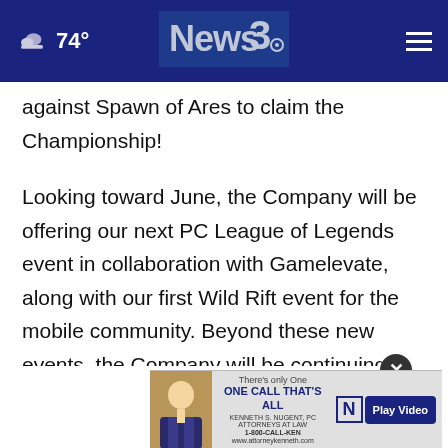74° News3 [navigation menu]
against Spawn of Ares to claim the Championship!
Looking toward June, the Company will be offering our next PC League of Legends event in collaboration with Gamelevate, along with our first Wild Rift event for the mobile community. Beyond these new events, the Company will be continuing to grow many of its long-standing series along with the other new series intro[duced]...eries,
[Figure (screenshot): Advertisement overlay: Kenneth S. Nugent law firm ad with 'There's only One ONE CALL THAT'S ALL' and '1-800-CALL-KEN' with Play Video button, and a close (×) button above it.]